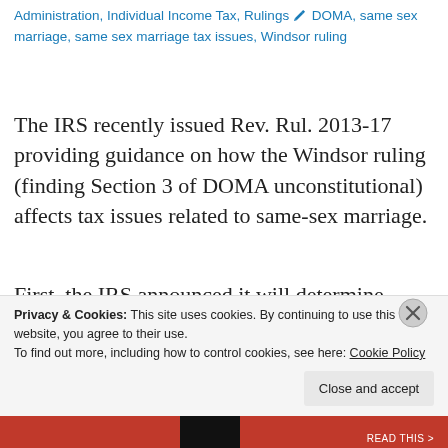Administration, Individual Income Tax, Rulings 🖊 DOMA, same sex marriage, same sex marriage tax issues, Windsor ruling
The IRS recently issued Rev. Rul. 2013-17 providing guidance on how the Windsor ruling (finding Section 3 of DOMA unconstitutional) affects tax issues related to same-sex marriage.
First, the IRS announced it will determine marital status based on the laws of the state or country of celebration of the marriage, not the state of residence of the affected persons
Privacy & Cookies: This site uses cookies. By continuing to use this website, you agree to their use.
To find out more, including how to control cookies, see here: Cookie Policy
Close and accept